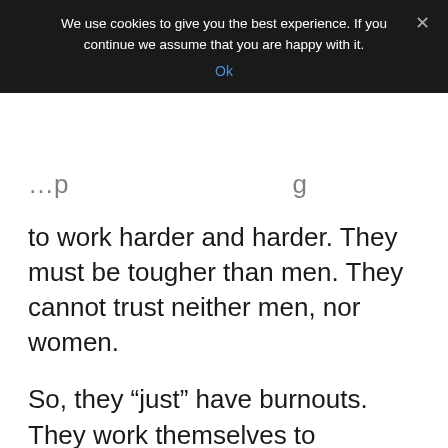We use cookies to give you the best experience. If you continue we assume that you are happy with it.
Ok
to work harder and harder. They must be tougher than men. They cannot trust neither men, nor women.
So, they “just” have burnouts. They work themselves to exhaustion in the search for constant improvement. Many end up in high levels of organizations single, divorced and/or childless.
Don’t crucify me!